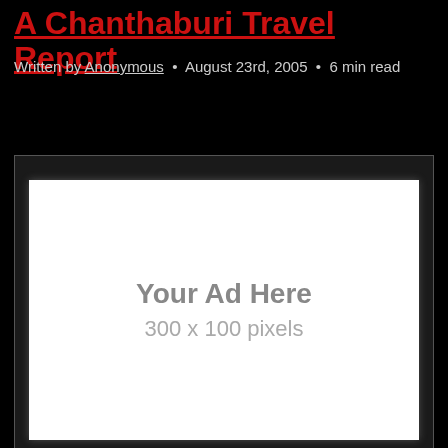A Chanthaburi Travel Report
Written by Anonymous • August 23rd, 2005 • 6 min read
[Figure (other): Advertisement placeholder box with text 'Your Ad Here' and '300 x 100 pixels']